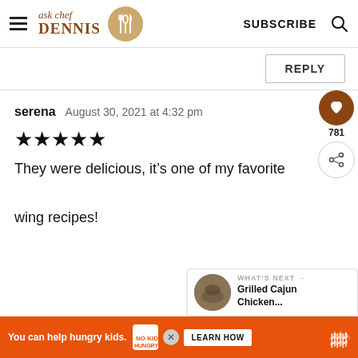ask chef DENNIS — SUBSCRIBE
REPLY
serena   August 30, 2021 at 4:32 pm
★★★★★
They were delicious, it's one of my favorite wing recipes!
781
WHAT'S NEXT → Grilled Cajun Chicken...
You can help hungry kids.  NO KID HUNGRY  LEARN HOW